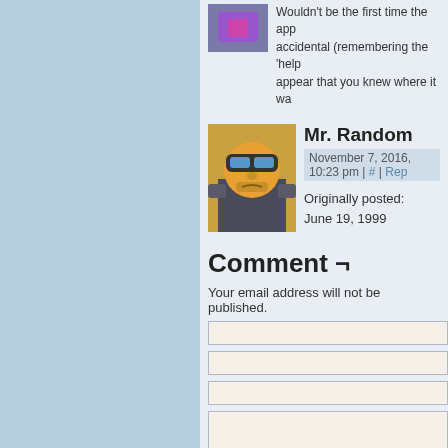Wouldn't be the first time the app... accidental (remembering the 'help... appear that you knew where it wa...
Mr. Random
November 7, 2016, 10:23 pm | # | Rep...
Originally posted:
June 19, 1999
Comment ¬
Your email address will not be published.
NOTE - You can use these HTML tags and attribu...
<a href="" title=""> <abbr title=""> <a...
<b> <blockquote cite=""> <cite> <code>...